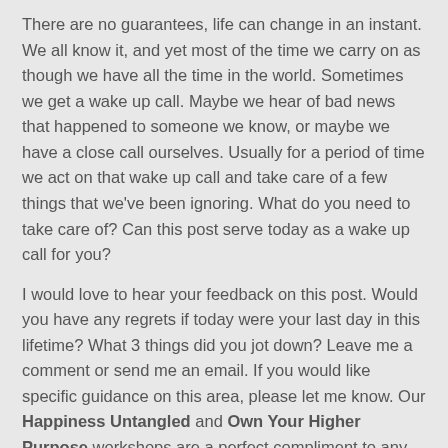There are no guarantees, life can change in an instant. We all know it, and yet most of the time we carry on as though we have all the time in the world. Sometimes we get a wake up call. Maybe we hear of bad news that happened to someone we know, or maybe we have a close call ourselves. Usually for a period of time we act on that wake up call and take care of a few things that we've been ignoring. What do you need to take care of? Can this post serve today as a wake up call for you?
I would love to hear your feedback on this post. Would you have any regrets if today were your last day in this lifetime? What 3 things did you jot down? Leave me a comment or send me an email. If you would like specific guidance on this area, please let me know. Our Happiness Untangled and Own Your Higher Purpose workshops are a perfect compliment to any work you are doing in this area.
[Figure (other): Social sharing buttons: a blue Facebook Like button showing count 0, and a blue Twitter Tweet button]
4 Comments